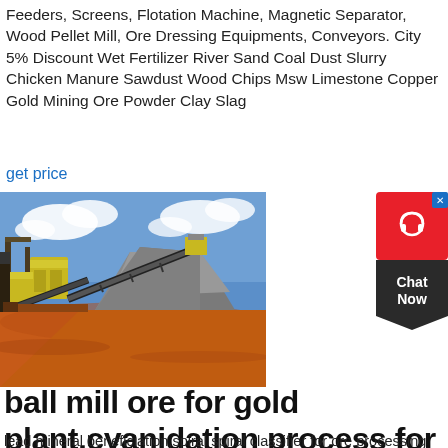Feeders, Screens, Flotation Machine, Magnetic Separator, Wood Pellet Mill, Ore Dressing Equipments, Conveyors. City 5% Discount Wet Fertilizer River Sand Coal Dust Slurry Chicken Manure Sawdust Wood Chips Msw Limestone Copper Gold Mining Ore Powder Clay Slag
get price
[Figure (photo): Outdoor mining/ore processing facility showing conveyor belts, industrial machinery, and a large pile of crushed grey ore/gravel on red-orange earth, with blue sky and white clouds in background.]
[Figure (other): Chat widget with red background showing a headphone/support icon with an X close button, and a dark charcoal pentagon-shaped section below reading 'Chat Now']
ball mill ore for gold plant,cyanidation process for gold
lead mineral beneficiation,spiral spiral classifier for ore processing mineral processing design china manufacturer high